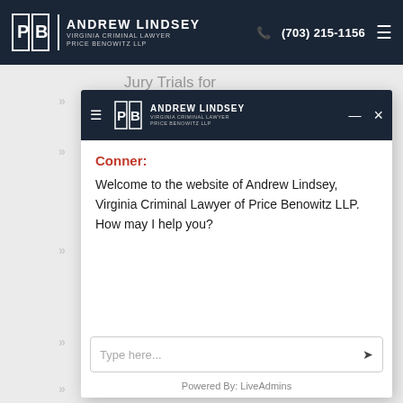[Figure (screenshot): Andrew Lindsey Virginia Criminal Lawyer Price Benowitz LLP website header navigation bar with logo, phone number (703) 215-1156, and hamburger menu on dark navy background]
Jury Trials for
[Figure (screenshot): Chat widget overlay with Andrew Lindsey Price Benowitz LLP header, chat message from Conner: Welcome to the website of Andrew Lindsey, Virginia Criminal Lawyer of Price Benowitz LLP. How may I help you? Input field with Type here... placeholder and send button, Powered By: LiveAdmins footer]